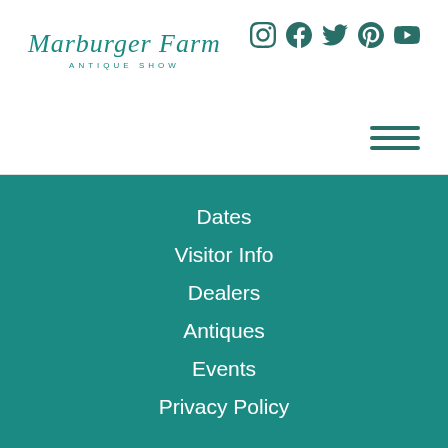[Figure (logo): Marburger Farm Antique Show logo with social media icons and hamburger menu]
Dates
Visitor Info
Dealers
Antiques
Events
Privacy Policy
Copyright © 2022 Marburger Farm Antique Show. All rights reserved.